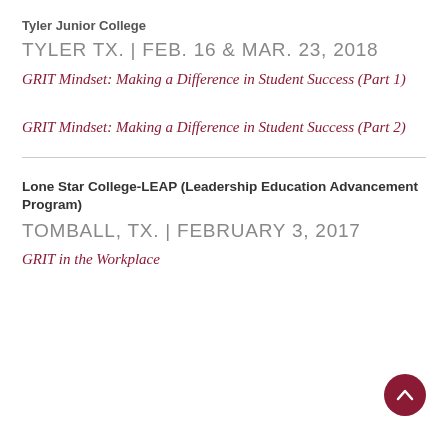Tyler Junior College
TYLER TX. | FEB. 16 & MAR. 23, 2018
GRIT Mindset: Making a Difference in Student Success (Part 1)
GRIT Mindset: Making a Difference in Student Success (Part 2)
Lone Star College-LEAP (Leadership Education Advancement Program)
TOMBALL, TX. | FEBRUARY 3, 2017
GRIT in the Workplace